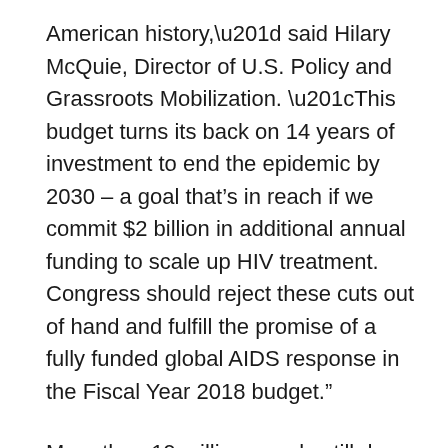American history,” said Hilary McQuie, Director of U.S. Policy and Grassroots Mobilization. “This budget turns its back on 14 years of investment to end the epidemic by 2030 – a goal that’s in reach if we commit $2 billion in additional annual funding to scale up HIV treatment. Congress should reject these cuts out of hand and fulfill the promise of a fully funded global AIDS response in the Fiscal Year 2018 budget.”
More than 19 million people still do not have access to life-saving HIV treatment. PEPFAR,